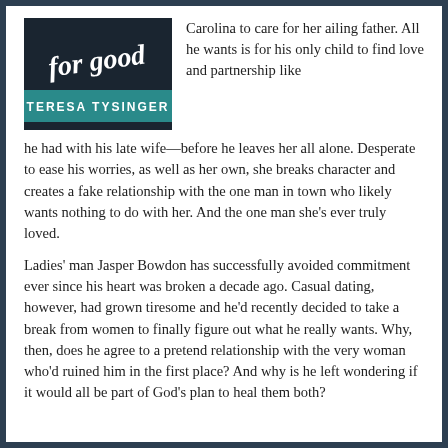[Figure (illustration): Book cover showing 'for Good' in cursive script with 'TERESA TYSINGER' on a teal banner, dark background]
Carolina to care for her ailing father. All he wants is for his only child to find love and partnership like he had with his late wife—before he leaves her all alone. Desperate to ease his worries, as well as her own, she breaks character and creates a fake relationship with the one man in town who likely wants nothing to do with her. And the one man she's ever truly loved.
Ladies' man Jasper Bowdon has successfully avoided commitment ever since his heart was broken a decade ago. Casual dating, however, had grown tiresome and he'd recently decided to take a break from women to finally figure out what he really wants. Why, then, does he agree to a pretend relationship with the very woman who'd ruined him in the first place? And why is he left wondering if it would all be part of God's plan to heal them both?